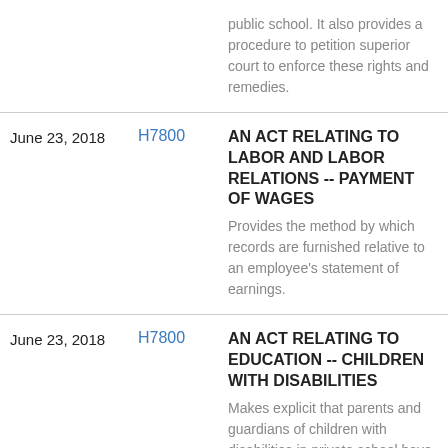| Date | Bill | Description |
| --- | --- | --- |
|  |  | public school. It also provides a procedure to petition superior court to enforce these rights and remedies. |
| June 23, 2018 | H7800 | AN ACT RELATING TO LABOR AND LABOR RELATIONS -- PAYMENT OF WAGES
Provides the method by which records are furnished relative to an employee's statement of earnings. |
| June 23, 2018 | H7800 | AN ACT RELATING TO EDUCATION -- CHILDREN WITH DISABILITIES
Makes explicit that parents and guardians of children with disabilities in private school have the same rights and remedies as parents of children in public school. It also provides a procedure to petition superior court to enforce these rights and remedies. |
| June 23,  | H7800 | AN ACT RELATING TO LABOR AN... |